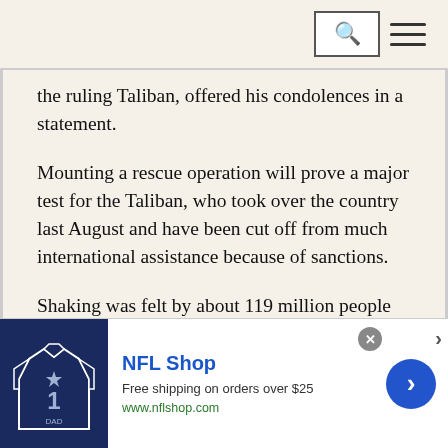[Search icon] [Hamburger menu]
the ruling Taliban, offered his condolences in a statement.
Mounting a rescue operation will prove a major test for the Taliban, who took over the country last August and have been cut off from much international assistance because of sanctions.
Shaking was felt by about 119 million people in Pakistan, Afghanistan and India, the EMSC said on Twitter, but there were no immediate reports of damage or casualties in Pakistan.
[Figure (infographic): NFL Shop advertisement banner with a Dallas Cowboys jersey image, title 'NFL Shop', subtitle 'Free shipping on orders over $25', URL 'www.nflshop.com', a blue circular arrow button, and a grey close button]